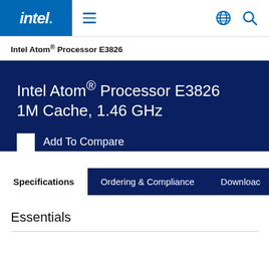intel. ≡ 🌐 🔍
Intel Atom® Processor E3826
Intel Atom® Processor E3826 1M Cache, 1.46 GHz
Add To Compare
Specifications  Ordering & Compliance  Download
Essentials